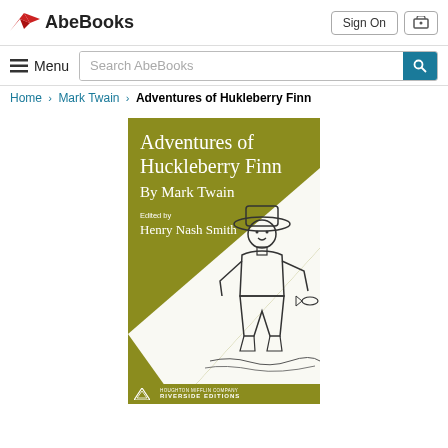AbeBooks | Sign On | Cart
≡ Menu | Search AbeBooks
Home > Mark Twain > Adventures of Hukleberry Finn
[Figure (illustration): Book cover of 'Adventures of Huckleberry Finn By Mark Twain, Edited by Henry Nash Smith', olive green cover with diagonal white band and illustration of Huck Finn holding a fish, Houghton Mifflin Company Riverside Editions]